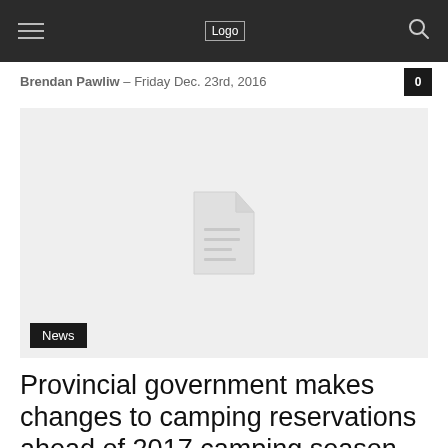Logo
Brendan Pawliw – Friday Dec. 23rd, 2016
[Figure (photo): Hero image placeholder with broken image icon, showing a document icon in the center. A 'News' badge appears in the bottom-left corner.]
Provincial government makes changes to camping reservations ahead of 2017 camping season